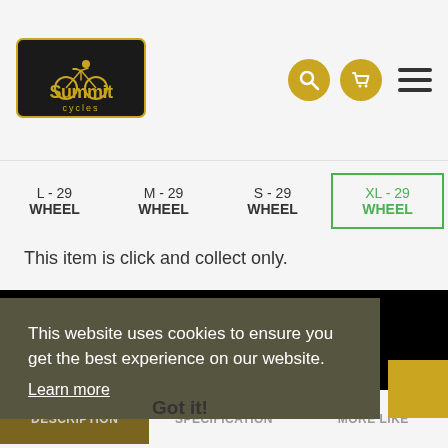[Figure (logo): Summit Cycles logo with yellow bicycle graphic and black/yellow text]
L - 29 WHEEL
M - 29 WHEEL
S - 29 WHEEL
XL - 29 WHEEL (active/selected tab)
This item is click and collect only.
Part Number: 5258940
This website uses cookies to ensure you get the best experience on our website.
Learn more
Got it!
DESCRIPTION
SPECIFICATION
MORE LIKE